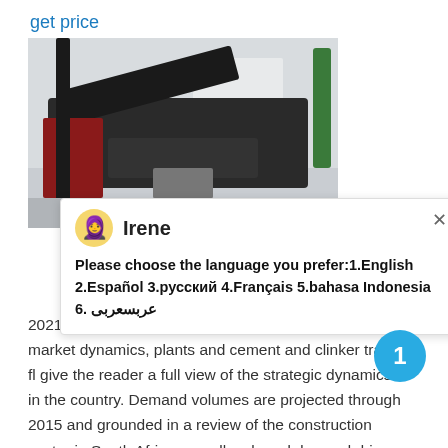get price
[Figure (photo): Industrial machine or crusher equipment in a factory setting]
Irene
Please choose the language you prefer:1.English  2.Español  3.русский  4.Français  5.bahasa Indonesia   6. عربسعربى
2021-8-5    The cement market report discussed comp market dynamics, plants and cement and clinker trade fl give the reader a full view of the strategic dynamics in the country. Demand volumes are projected through 2015 and grounded in a review of the construction sector in South Africa as well as broad demand drivers affecting the industry.